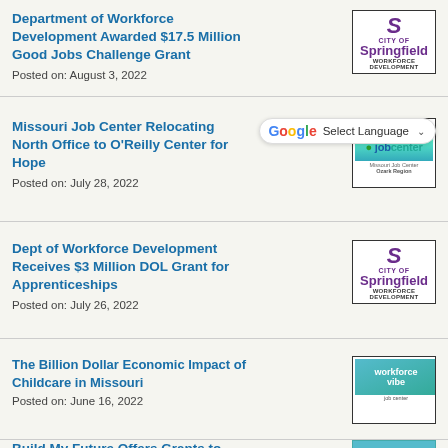Department of Workforce Development Awarded $17.5 Million Good Jobs Challenge Grant
Posted on: August 3, 2022
[Figure (logo): City of Springfield Workforce Development logo with purple S icon]
Missouri Job Center Relocating North Office to O'Reilly Center for Hope
Posted on: July 28, 2022
[Figure (logo): Missouri Job Center Ozark Region logo]
Dept of Workforce Development Receives $3 Million DOL Grant for Apprenticeships
Posted on: July 26, 2022
[Figure (logo): City of Springfield Workforce Development logo with purple S icon]
The Billion Dollar Economic Impact of Childcare in Missouri
Posted on: June 16, 2022
[Figure (logo): Workforce Vibe job center logo]
Build My Future Offers Grants to